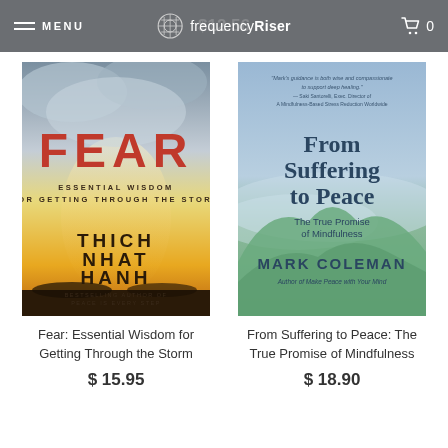MENU  frequencyRiser  0
[Figure (photo): Book cover of 'FEAR: Essential Wisdom for Getting Through the Storm' by Thich Nhat Hanh. Red text FEAR over stormy sky with warm golden light below.]
Fear: Essential Wisdom for Getting Through the Storm
$ 15.95
[Figure (photo): Book cover of 'From Suffering to Peace: The True Promise of Mindfulness' by Mark Coleman. Soft blue and green misty mountain landscape.]
From Suffering to Peace: The True Promise of Mindfulness
$ 18.90